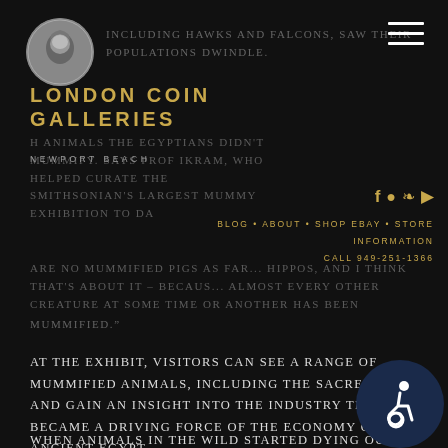[Figure (logo): London Coin Galleries circular coin logo]
LONDON COIN GALLERIES NEWPORT BEACH
INCLUDING HAWKS AND FALCONS, SAW THEIR POPULATIONS DWINDLE.
...H ANIMALS THE EGYPTIANS DIDN'T MUMMIFY. SAYS PROF IKRAM, WHO HELPED CURATE THE SMITHSONIAN'S LARGEST MUMMY EXHIBITION TO DA... ARE NO MUMMIFIED PIGS AS FAR... HIPPOS, AND I THINK THAT'S ABOUT IT – BECAUS... ALMOST EVERY OTHER CREATURE AT SOME TIME OR ANOTHER HAS BEEN MUMMIFIED."
At the exhibit, visitors can see a range of mummified animals, including the Sacred Ibis, and gain an insight into the industry that became a driving force of the economy of ancient Egypt.
When animals in the wild started dying out, ext... breeding programmes were launched by the temples and surrounding villages.
[Figure (illustration): Wheelchair accessibility icon badge]